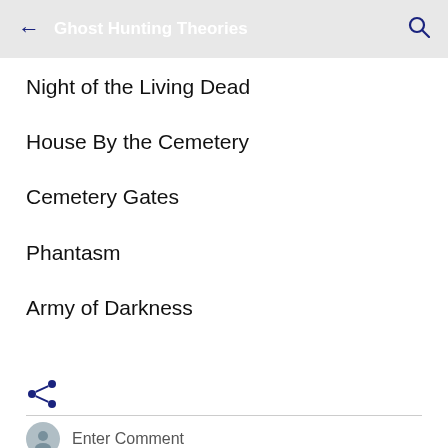Ghost Hunting Theories
Night of the Living Dead
House By the Cemetery
Cemetery Gates
Phantasm
Army of Darkness
[Figure (other): Share icon (network share symbol) in dark navy blue]
Enter Comment